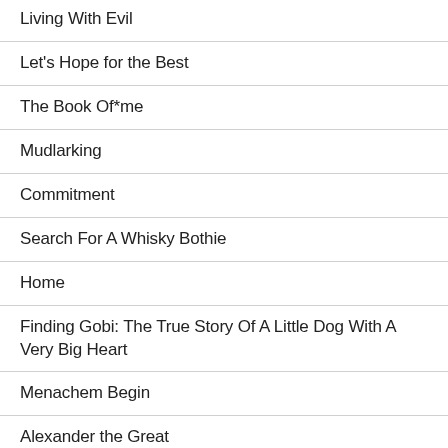Living With Evil
Let's Hope for the Best
The Book Of*me
Mudlarking
Commitment
Search For A Whisky Bothie
Home
Finding Gobi: The True Story Of A Little Dog With A Very Big Heart
Menachem Begin
Alexander the Great